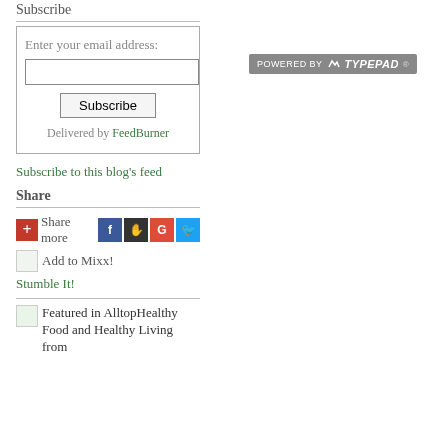Subscribe
Enter your email address: [input field] [Subscribe button] Delivered by FeedBurner
[Figure (logo): Powered by TypePad badge]
Subscribe to this blog's feed
Share
Share more [Facebook, Digg, Google+, Twitter icons]
Add to Mixx!
Stumble It!
Featured in AlltopHealthy Food and Healthy Living from